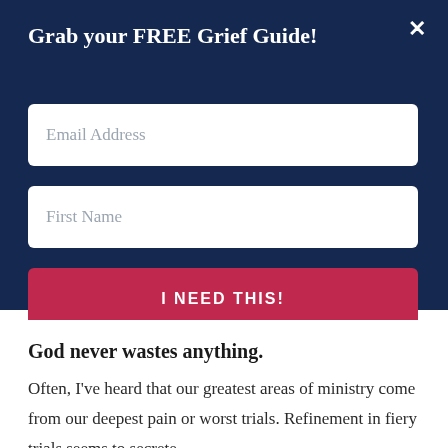Grab your FREE Grief Guide!
Email Address
First Name
I NEED THIS!
God never wastes anything.
Often, I've heard that our greatest areas of ministry come from our deepest pain or worst trials. Refinement in fiery trials seems to secrete